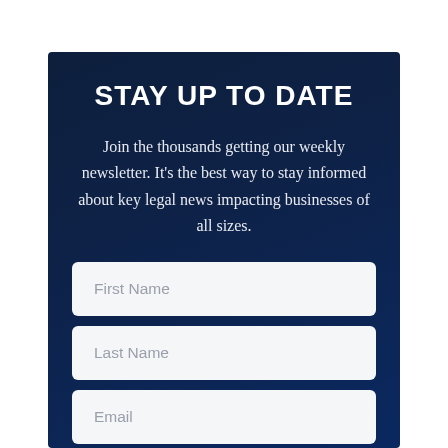STAY UP TO DATE
Join the thousands getting our weekly newsletter. It's the best way to stay informed about key legal news impacting businesses of all sizes.
First Name
Last Name
Email